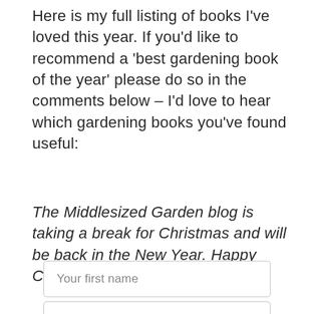Here is my full listing of books I've loved this year. If you'd like to recommend a 'best gardening book of the year' please do so in the comments below – I'd love to hear which gardening books you've found useful:
The Middlesized Garden blog is taking a break for Christmas and will be back in the New Year. Happy Christmas and see you in 2019!